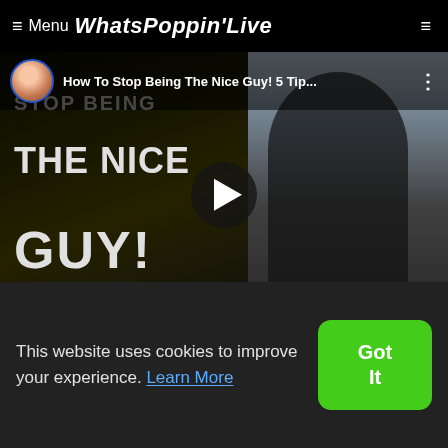≡ Menu WhatsPoppin'Live
[Figure (screenshot): Video thumbnail for 'How To Stop Being The Nice Guy! 5 Tip...' with text STOP BEING THE NICE GUY! overlaid on left half, woman in black dress on right, play button in center, channel avatar and title in top bar]
[Figure (photo): Silhouette of two people facing each other against blurred background]
Where Homosexuality
Video- Cleveland Robinson
[Figure (photo): Photo with love heart ornament and flowers]
This website uses cookies to improve your experience. Learn More